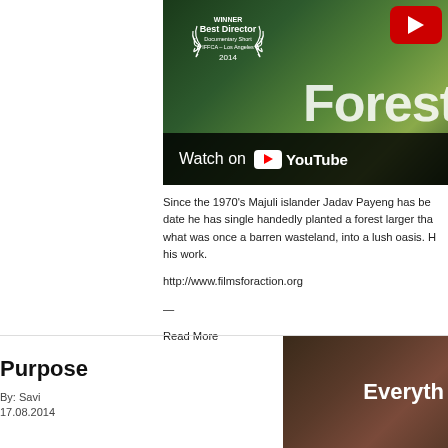[Figure (screenshot): YouTube video thumbnail for a documentary about Jadav Payeng/Forest Man, showing 'WINNER Best Director Documentary Short IFFCA – Los Angeles 2014' badge, forest background, text 'Forest' partially visible, and 'Watch on YouTube' bar at bottom. Red YouTube play button in top right corner.]
Since the 1970's Majuli islander Jadav Payeng has be... date he has single handedly planted a forest larger tha... what was once a barren wasteland, into a lush oasis. H... his work.
http://www.filmsforaction.org
—
Read More
Purpose
By: Savi
17.08.2014
[Figure (screenshot): Partial video thumbnail showing dark textured background with text 'Everyth' partially visible on right side.]